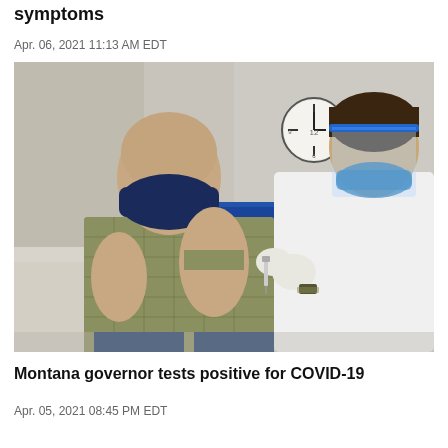symptoms
Apr. 06, 2021 11:13 AM EDT
[Figure (photo): A bald man wearing a dark blue face mask and plaid shirt receiving a vaccine injection in his upper arm from a healthcare worker in a white coat, face shield, and gloves. A clock is visible on the wall in the background.]
Montana governor tests positive for COVID-19
Apr. 05, 2021 08:45 PM EDT